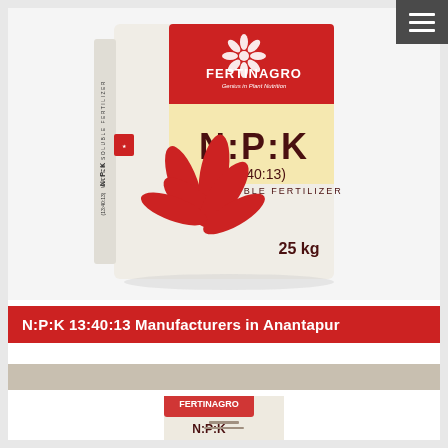[Figure (photo): A 25kg bag of Fertinagro N:P:K (13:40:13) Water Soluble Fertilizer product package. White bag with red logo, red flower/leaf design, and yellow accent area showing product name and weight.]
N:P:K 13:40:13 Manufacturers in Anantapur
[Figure (photo): Partial view of another Fertinagro fertilizer product package at bottom of page.]